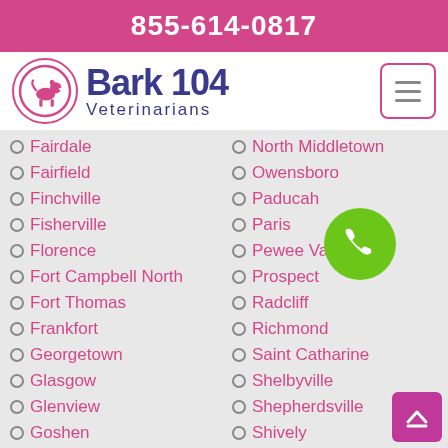855-614-0817
[Figure (logo): Bark 104 Veterinarians logo with dog silhouette in a circle]
Fairdale
Fairfield
Finchville
Fisherville
Florence
Fort Campbell North
Fort Thomas
Frankfort
Georgetown
Glasgow
Glenview
Goshen
North Middletown
Owensboro
Paducah
Paris
Pewee Valley
Prospect
Radcliff
Richmond
Saint Catharine
Shelbyville
Shepherdsville
Shively